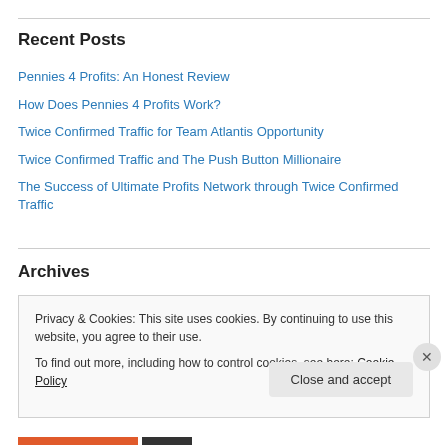Recent Posts
Pennies 4 Profits: An Honest Review
How Does Pennies 4 Profits Work?
Twice Confirmed Traffic for Team Atlantis Opportunity
Twice Confirmed Traffic and The Push Button Millionaire
The Success of Ultimate Profits Network through Twice Confirmed Traffic
Archives
Privacy & Cookies: This site uses cookies. By continuing to use this website, you agree to their use. To find out more, including how to control cookies, see here: Cookie Policy
Close and accept